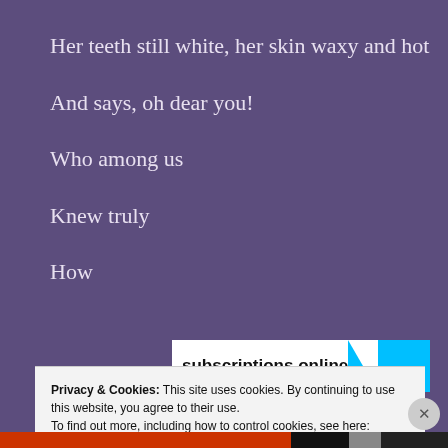Her teeth still white, her skin waxy and hot
And says, oh dear you!
Who among us
Knew truly
How
[Figure (screenshot): Advertisement banner showing 'subscriptions online' text in bold black with a cyan/blue triangle and rectangle graphic element on the right]
Privacy & Cookies: This site uses cookies. By continuing to use this website, you agree to their use.
To find out more, including how to control cookies, see here: Cookie Policy
Close and accept